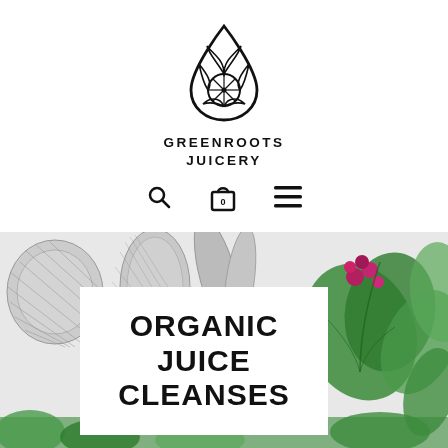[Figure (logo): Greenroots Juicery logo: a water drop shape with a stylized citrus/leaf design inside, outlined in black]
GREENROOTS
JUICERY
[Figure (infographic): Navigation bar icons: search (magnifying glass), shopping bag with 0 badge, and hamburger menu lines]
[Figure (illustration): Decorative botanical banner background with black-and-white engraving of vegetables/roots on the left and colored tropical leaves and berries on the right]
ORGANIC JUICE CLEANSES